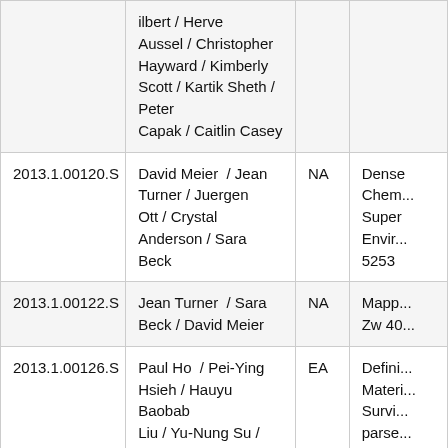| ID | Authors | Type | Title/Description |
| --- | --- | --- | --- |
|  | ilbert / Herve
Aussel / Christopher
Hayward / Kimberly
Scott / Kartik Sheth / Peter
Capak / Caitlin Casey |  |  |
| 2013.1.00120.S | David Meier / Jean Turner / Juergen Ott / Crystal Anderson / Sara Beck | NA | Dense Chemistry Super Envi... 5253 |
| 2013.1.00122.S | Jean Turner / Sara Beck / David Meier | NA | Mapp... Zw 40... |
| 2013.1.00126.S | Paul Ho / Pei-Ying Hsieh / Hauyu Baobab Liu / Yu-Nung Su / Young Minh / Elisabeth Mills | EA | Defini... Materi... Survi... parse... Super Hole... |
| 2013.1.00139.S | Tohru Nagao / Roberto ... | EA | The B... |